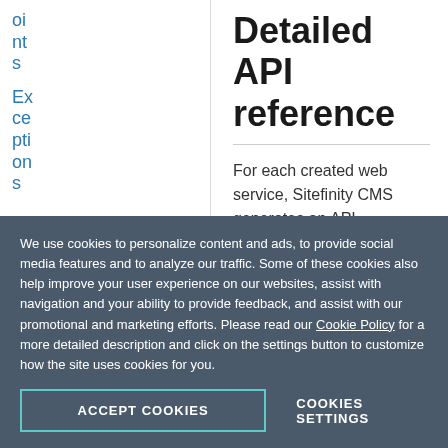oints
Exceptions
+ RESTful WCF
Detailed API reference
For each created web service, Sitefinity CMS generates an API reference.
1. To access it, navigate to Administration » API services.
2. Click the Use in your app link of the
We use cookies to personalize content and ads, to provide social media features and to analyze our traffic. Some of these cookies also help improve your user experience on our websites, assist with navigation and your ability to provide feedback, and assist with our promotional and marketing efforts. Please read our Cookie Policy for a more detailed description and click on the settings button to customize how the site uses cookies for you.